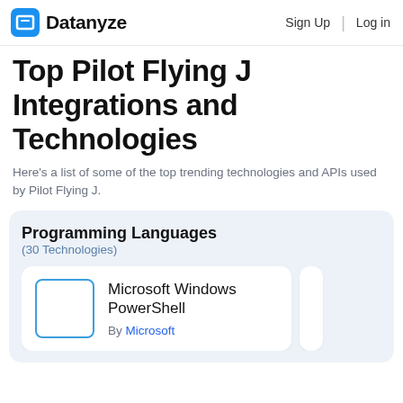Datanyze | Sign Up | Log in
Top Pilot Flying J Integrations and Technologies
Here's a list of some of the top trending technologies and APIs used by Pilot Flying J.
Programming Languages
(30 Technologies)
Microsoft Windows PowerShell
By Microsoft